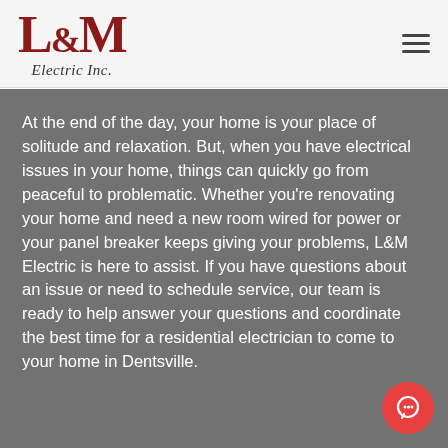[Figure (logo): L&M Electric Inc. logo with serif bold red lettering and italic subtitle]
At the end of the day, your home is your place of solitude and relaxation. But, when you have electrical issues in your home, things can quickly go from peaceful to problematic. Whether you're renovating your home and need a new room wired for power or your panel breaker keeps giving your problems, L&M Electric is here to assist. If you have questions about an issue or need to schedule service, our team is ready to help answer your questions and coordinate the best time for a residential electrician to come to your home in Dentsville.